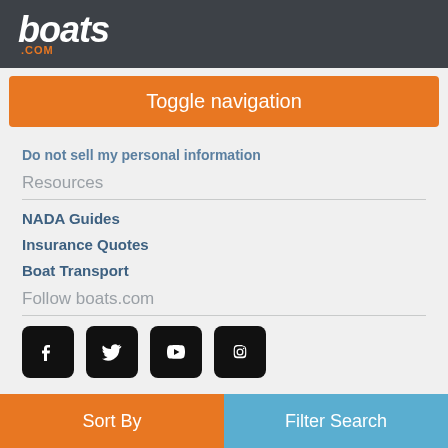boats .com
Toggle navigation
Do not sell my personal information
Resources
NADA Guides
Insurance Quotes
Boat Transport
Follow boats.com
[Figure (screenshot): Social media icons row: Facebook, Twitter, YouTube, Instagram — black rounded square icons]
boats.com, 1221 Brickell Avenue, 23rd Floor, Miami, FL
Sort By    Filter Search